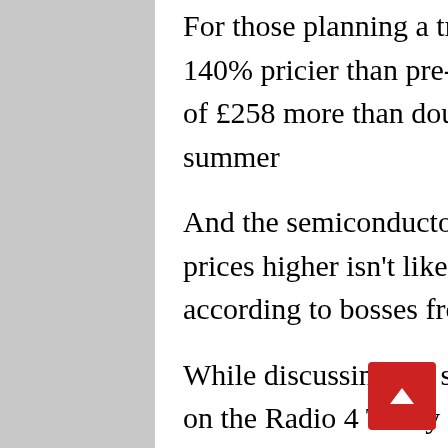For those planning a trip to Barcelona, expect rental to be 140% pricier than pre-pandemic, with the 2019 average of £258 more than doubling to £609 for a week this summer
And the semiconductor supply crunch that's pushing prices higher isn't likely to be resolved anytime soon, according to bosses from the automotive sector.
While discussing the semiconductor problem last week on the Radio 4 Today programme, Duncan Tait, boss at global automotive retailer Inchcape, said: ‘Talking to our automotive production partners around the world, they were saying things would get back to normal from 2022 through to 2023.